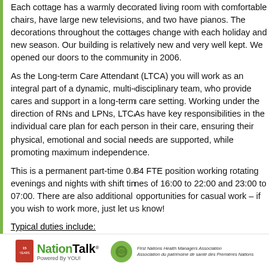Each cottage has a warmly decorated living room with comfortable chairs, have large new televisions, and two have pianos. The decorations throughout the cottages change with each holiday and new season. Our building is relatively new and very well kept. We opened our doors to the community in 2006.
As the Long-term Care Attendant (LTCA) you will work as an integral part of a dynamic, multi-disciplinary team, who provide cares and support in a long-term care setting. Working under the direction of RNs and LPNs, LTCAs have key responsibilities in the individual care plan for each person in their care, ensuring their physical, emotional and social needs are supported, while promoting maximum independence.
This is a permanent part-time 0.84 FTE position working rotating evenings and nights with shift times of 16:00 to 22:00 and 23:00 to 07:00. There are also additional opportunities for casual work – if you wish to work more, just let us know!
Typical duties include:
Assist individuals with personal care and activities of daily living
Assist with mobility, transfers and related equipment
Perform nursing procedures such as taking temperature, pulse and
NationTalk Powered By YOU! | First Nations Health Managers Association